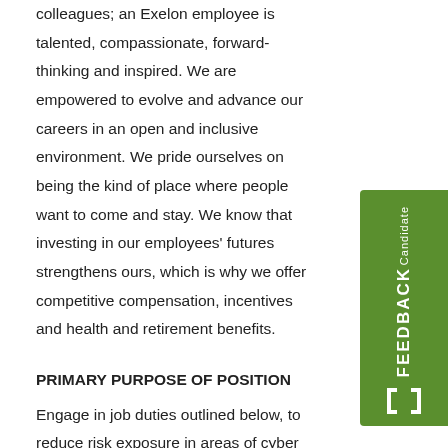colleagues; an Exelon employee is talented, compassionate, forward-thinking and inspired. We are empowered to evolve and advance our careers in an open and inclusive environment. We pride ourselves on being the kind of place where people want to come and stay. We know that investing in our employees' futures strengthens ours, which is why we offer competitive compensation, incentives and health and retirement benefits.
PRIMARY PURPOSE OF POSITION
Engage in job duties outlined below, to reduce risk exposure in areas of cyber and physical security; and to promote our mission of safeguarding the people, property, reputation and shareholder value of the corporation. Provide secure tactical driving services for Exelon executives with 24/7 availability Conduct counter-surveillance services for select Exelon executives Maintain the highest level of confidentiality and discretion regarding all corporate matters, especially executive conversations and communications Provide
[Figure (other): Green vertical 'Candidate FEEDBACK' tab with bracket icon, positioned on the right side of the page]